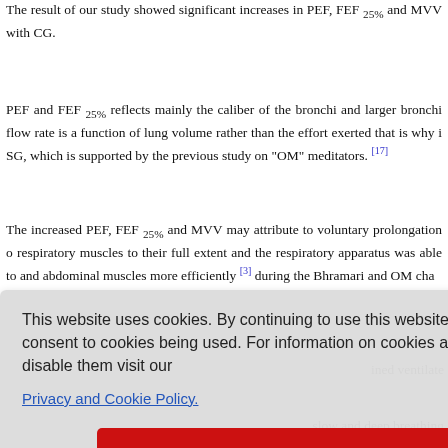The result of our study showed significant increases in PEF, FEF 25% and MVV... with CG.
PEF and FEF 25% reflects mainly the caliber of the bronchi and larger bronchi... flow rate is a function of lung volume rather than the effort exerted that is why i... SG, which is supported by the previous study on "OM" meditators. [17]
The increased PEF, FEF 25% and MVV may attribute to voluntary prolongation o... respiratory muscles to their full extent and the respiratory apparatus was able to... and abdominal muscles more efficiently [3] during the Bhramari and OM cha...
...ined ventilate...
...ak expiratory... t support ou...
...VC and FEV... SG unlike i...
...actice of Bh...
volumes and vital capacity by its slow breathing [19],[20] slow and deep breathing...
[Figure (screenshot): Cookie consent overlay popup with text 'This website uses cookies. By continuing to use this website you are giving consent to cookies being used. For information on cookies and how you can disable them visit our Privacy and Cookie Policy.' and a red 'AGREE & PROCEED' button.]